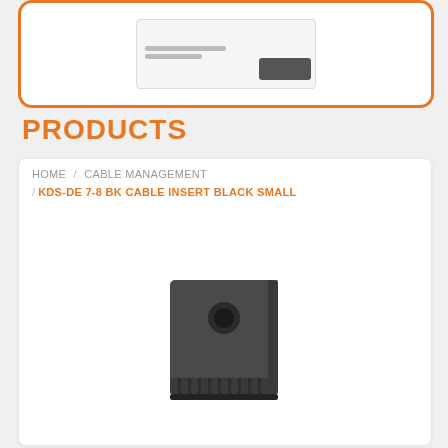[Figure (screenshot): Top orange-bordered box with a receipt/document graphic inside]
PRODUCTS
HOME / CABLE MANAGEMENT / KDS-DE 7-8 BK CABLE INSERT BLACK SMALL
[Figure (photo): Black cable insert product (KDS-DE 7-8 BK), small square component with a center hole and ribbed bottom]